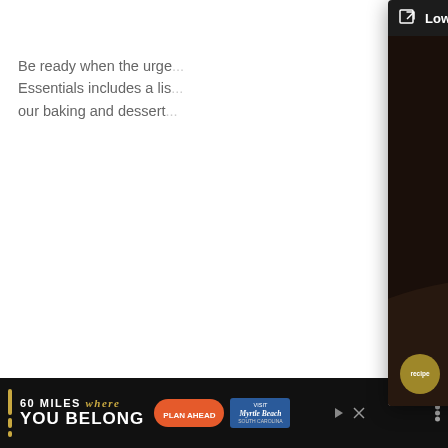Be ready when the urge... Essentials includes a lis... our baking and dessert...
on high speed until slightly fluffy.
[Figure (photo): Popup overlay showing Low-Carb Crustless Taco Pie with dark header bar, title 'Low-Carb Crustless Taco Pie', close button X, and a photo of raw ground meat being cooked in a pan.]
[Figure (photo): Photo of a metal mixing bowl containing two eggs and white cream/sour cream on a dark background.]
[Figure (infographic): Advertisement banner at bottom: dark background with '60 MILES where YOU BELONG' text, Plan Ahead button, Myrtle Beach South Carolina destination badge. Social share bar on right side with Pinterest, LinkedIn, Reddit, and Yummly icons in gold/olive color.]